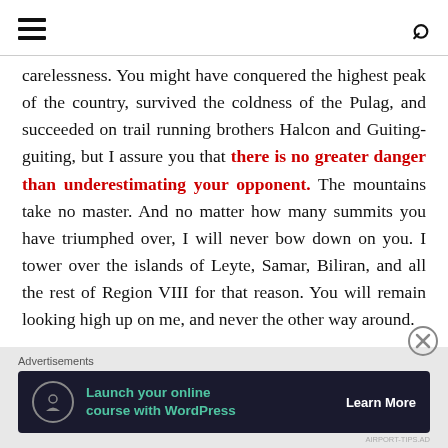[hamburger menu icon] [search icon]
carelessness. You might have conquered the highest peak of the country, survived the coldness of the Pulag, and succeeded on trail running brothers Halcon and Guiting-guiting, but I assure you that there is no greater danger than underestimating your opponent. The mountains take no master. And no matter how many summits you have triumphed over, I will never bow down on you. I tower over the islands of Leyte, Samar, Biliran, and all the rest of Region VIII for that reason. You will remain looking high up on me, and never the other way around.
Advertisements
[Figure (other): Advertisement banner: dark navy background with tree/person icon circle, teal text 'Launch your online course with WordPress', white 'Learn More' button text. Small attribution text at bottom right.]